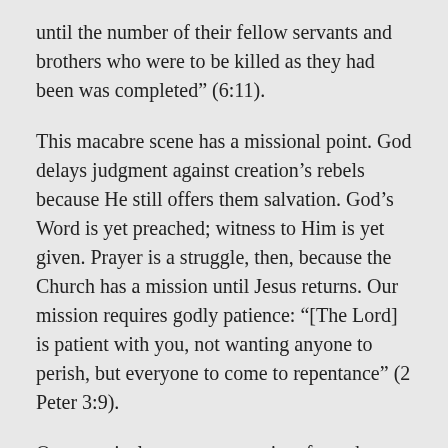until the number of their fellow servants and brothers who were to be killed as they had been was completed” (6:11).
This macabre scene has a missional point. God delays judgment against creation’s rebels because He still offers them salvation. God’s Word is yet preached; witness to Him is yet given. Prayer is a struggle, then, because the Church has a mission until Jesus returns. Our mission requires godly patience: “[The Lord] is patient with you, not wanting anyone to perish, but everyone to come to repentance” (2 Peter 3:9).
One practical consequence arises from the struggle of prayer: Keep praying! Your prayers for the Kingdom may not have been answered at the present time, but they will